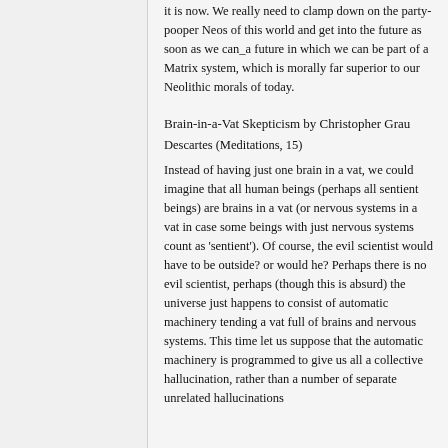it is now. We really need to clamp down on the party-pooper Neos of this world and get into the future as soon as we can_a future in which we can be part of a Matrix system, which is morally far superior to our Neolithic morals of today.
Brain-in-a-Vat Skepticism by Christopher Grau
Descartes (Meditations, 15)
Instead of having just one brain in a vat, we could imagine that all human beings (perhaps all sentient beings) are brains in a vat (or nervous systems in a vat in case some beings with just nervous systems count as 'sentient'). Of course, the evil scientist would have to be outside? or would he? Perhaps there is no evil scientist, perhaps (though this is absurd) the universe just happens to consist of automatic machinery tending a vat full of brains and nervous systems. This time let us suppose that the automatic machinery is programmed to give us all a collective hallucination, rather than a number of separate unrelated hallucinations